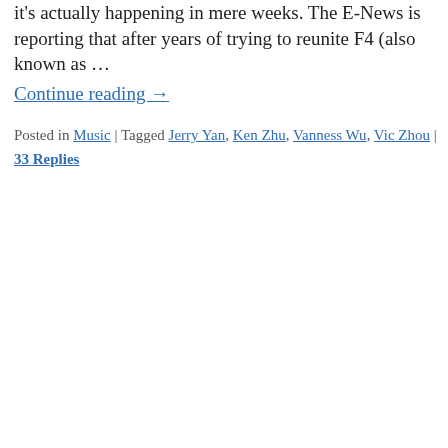it's actually happening in mere weeks. The E-News is reporting that after years of trying to reunite F4 (also known as …
Continue reading →
Posted in Music | Tagged Jerry Yan, Ken Zhu, Vanness Wu, Vic Zhou | 33 Replies